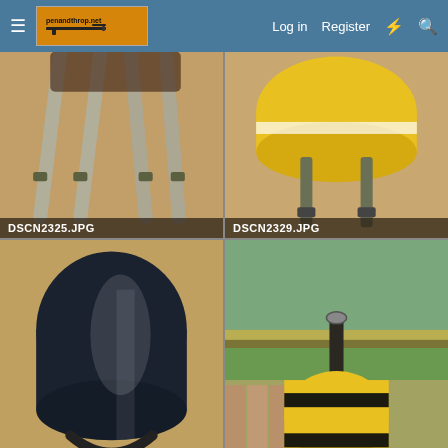≡  [Logo] penandthrop.net   Log in   Register   ⚡   🔍
[Figure (photo): Top-down view of military/tactical pack straps and buckles on a wooden floor, gray straps with olive hardware]
[Figure (photo): Yellow cylindrical dry bag or roll pack with olive/gray straps and buckles on a wooden floor]
[Figure (photo): Dark cylindrical SCBA tank or barrel bag with black straps on a wooden floor indoors]
[Figure (photo): Yellow and black striped cylindrical bag hanging from a hook or carabiner outdoors against trees and a wooden fence]
[Figure (photo): Person wearing olive/green tactical vest or chest rig standing against a brick wall (partially visible)]
[Figure (photo): Dark outdoor scene, possibly a bird or silhouette against a brown/tan background]